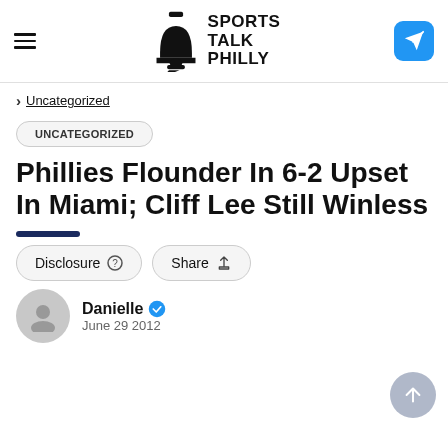Sports Talk Philly
> Uncategorized
UNCATEGORIZED
Phillies Flounder In 6-2 Upset In Miami; Cliff Lee Still Winless
Disclosure   Share
Danielle  June 29 2012